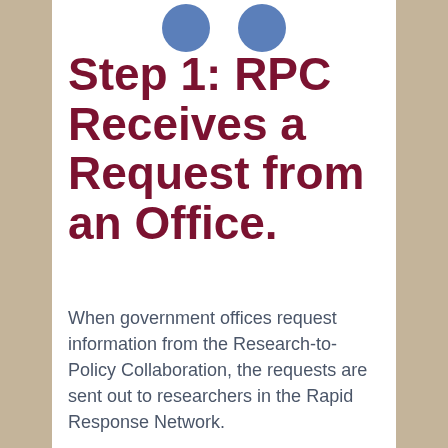[Figure (illustration): Two blue circles partially visible at the top of the white content area]
Step 1: RPC Receives a Request from an Office.
When government offices request information from the Research-to-Policy Collaboration, the requests are sent out to researchers in the Rapid Response Network.